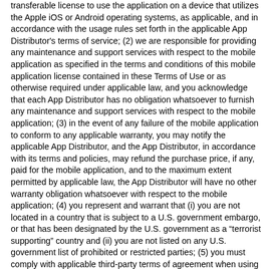transferable license to use the application on a device that utilizes the Apple iOS or Android operating systems, as applicable, and in accordance with the usage rules set forth in the applicable App Distributor's terms of service; (2) we are responsible for providing any maintenance and support services with respect to the mobile application as specified in the terms and conditions of this mobile application license contained in these Terms of Use or as otherwise required under applicable law, and you acknowledge that each App Distributor has no obligation whatsoever to furnish any maintenance and support services with respect to the mobile application; (3) in the event of any failure of the mobile application to conform to any applicable warranty, you may notify the applicable App Distributor, and the App Distributor, in accordance with its terms and policies, may refund the purchase price, if any, paid for the mobile application, and to the maximum extent permitted by applicable law, the App Distributor will have no other warranty obligation whatsoever with respect to the mobile application; (4) you represent and warrant that (i) you are not located in a country that is subject to a U.S. government embargo, or that has been designated by the U.S. government as a “terrorist supporting” country and (ii) you are not listed on any U.S. government list of prohibited or restricted parties; (5) you must comply with applicable third-party terms of agreement when using the mobile application, e.g., if you have a VoIP application, then you must not be in violation of their wireless data service agreement when using the mobile application; and (6) you acknowledge and agree that the App Distributors are third-party beneficiaries of the terms and conditions in this mobile application